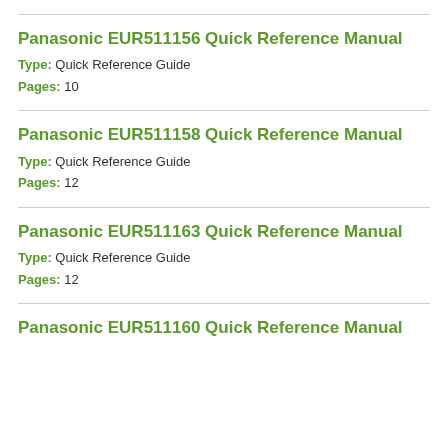Panasonic EUR511156 Quick Reference Manual
Type: Quick Reference Guide
Pages: 10
Panasonic EUR511158 Quick Reference Manual
Type: Quick Reference Guide
Pages: 12
Panasonic EUR511163 Quick Reference Manual
Type: Quick Reference Guide
Pages: 12
Panasonic EUR511160 Quick Reference Manual